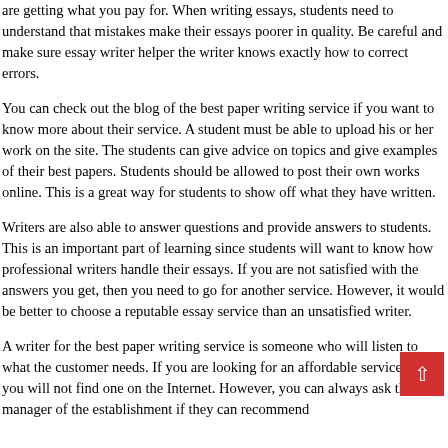are getting what you pay for. When writing essays, students need to understand that mistakes make their essays poorer in quality. Be careful and make sure essay writer helper the writer knows exactly how to correct errors.
You can check out the blog of the best paper writing service if you want to know more about their service. A student must be able to upload his or her work on the site. The students can give advice on topics and give examples of their best papers. Students should be allowed to post their own works online. This is a great way for students to show off what they have written.
Writers are also able to answer questions and provide answers to students. This is an important part of learning since students will want to know how professional writers handle their essays. If you are not satisfied with the answers you get, then you need to go for another service. However, it would be better to choose a reputable essay service than an unsatisfied writer.
A writer for the best paper writing service is someone who will listen to what the customer needs. If you are looking for an affordable service, then you will not find one on the Internet. However, you can always ask the manager of the establishment if they can recommend